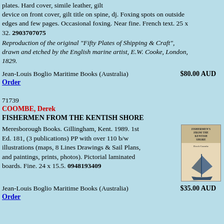plates. Hard cover, simile leather, gilt device on front cover, gilt title on spine, dj. Foxing spots on outside edges and few pages. Occasional foxing. Near fine. French text. 25 x 32. 2903707075
Reproduction of the original "Fifty Plates of Shipping & Craft", drawn and etched by the English marine artist, E.W. Cooke, London, 1829.
Jean-Louis Boglio Maritime Books (Australia)    $80.00 AUD
Order
71739
COOMBE, Derek
FISHERMEN FROM THE KENTISH SHORE
Meresborough Books. Gillingham, Kent. 1989. 1st Ed. 181, (3 publications) PP with over 110 b/w illustrations (maps, 8 Lines Drawings & Sail Plans, and paintings, prints, photos). Pictorial laminated boards. Fine. 24 x 15.5. 0948193409
[Figure (photo): Book cover of 'Fishermen from the Kentish Shore' by Derek Coombe, showing a sailing vessel illustration on a beige/cream cover]
Jean-Louis Boglio Maritime Books (Australia)    $35.00 AUD
Order